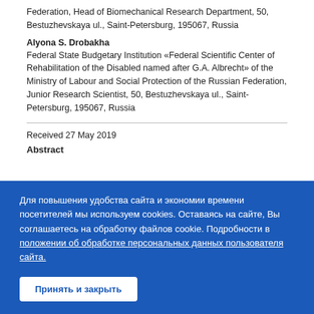Federation, Head of Biomechanical Research Department, 50, Bestuzhevskaya ul., Saint-Petersburg, 195067, Russia
Alyona S. Drobakha
Federal State Budgetary Institution «Federal Scientific Center of Rehabilitation of the Disabled named after G.A. Albrecht» of the Ministry of Labour and Social Protection of the Russian Federation, Junior Research Scientist, 50, Bestuzhevskaya ul., Saint-Petersburg, 195067, Russia
Received 27 May 2019
Abstract
Для повышения удобства сайта и экономии времени посетителей мы используем cookies. Оставаясь на сайте, Вы соглашаетесь на обработку файлов cookie. Подробности в положении об обработке персональных данных пользователя сайта.